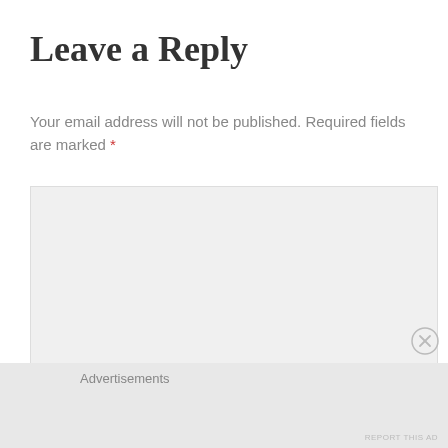Leave a Reply
Your email address will not be published. Required fields are marked *
COMMENT *
Advertisements
REPORT THIS AD